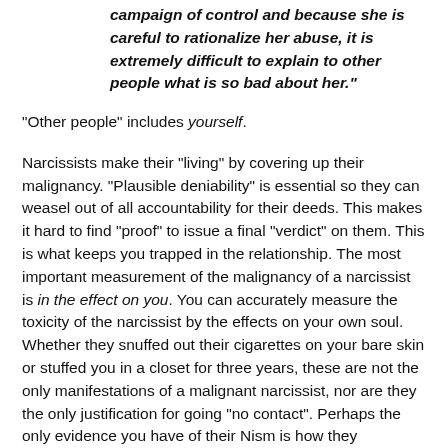campaign of control and because she is careful to rationalize her abuse, it is extremely difficult to explain to other people what is so bad about her."
"Other people" includes yourself.
Narcissists make their "living" by covering up their malignancy. "Plausible deniability" is essential so they can weasel out of all accountability for their deeds. This makes it hard to find "proof" to issue a final "verdict" on them. This is what keeps you trapped in the relationship. The most important measurement of the malignancy of a narcissist is in the effect on you. You can accurately measure the toxicity of the narcissist by the effects on your own soul. Whether they snuffed out their cigarettes on your bare skin or stuffed you in a closet for three years, these are not the only manifestations of a malignant narcissist, nor are they the only justification for going "no contact". Perhaps the only evidence you have of their Nism is how they consistently and sneakily undermined your person-hood and stole who you are from you. The evidence of who they really are is in the effects on you. You need to give yourself permission to issue